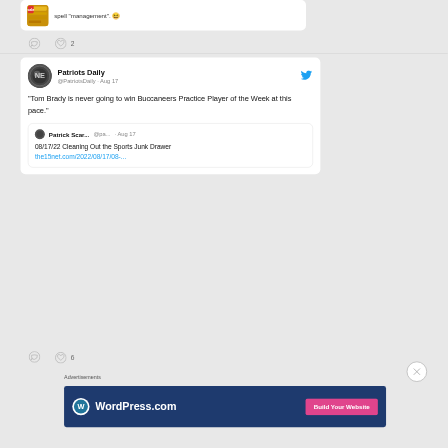[Figure (screenshot): Top of a Twitter/social media feed showing a partial tweet with a product image avatar and text ending in 'spell "management".' with a laughing emoji, followed by comment and heart (2 likes) action icons.]
[Figure (screenshot): Tweet from Patriots Daily (@PatriotsDaily, Aug 17) with blue Twitter bird icon. Avatar is a circular Patriots logo. Tweet reads: '"Tom Brady is never going to win Buccaneers Practice Player of the Week at this pace."' with a quoted tweet from Patrick Scar... (@pa... Aug 17) that reads: '08/17/22 Cleaning Out the Sports Junk Drawer the15net.com/2022/08/17/08-...']
Advertisements
[Figure (screenshot): WordPress.com advertisement banner on dark blue background with WordPress logo and 'WordPress.com' text and a pink 'Build Your Website' button.]